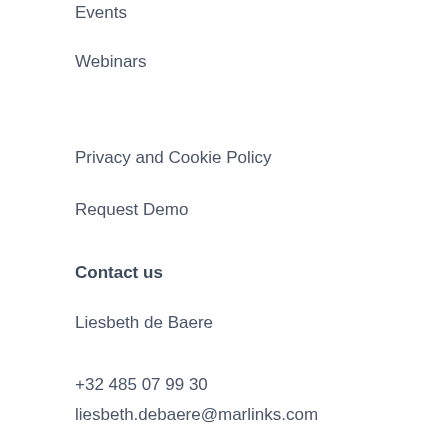Events
Webinars
Privacy and Cookie Policy
Request Demo
Contact us
Liesbeth de Baere
+32 485 07 99 30
liesbeth.debaere@marlinks.com